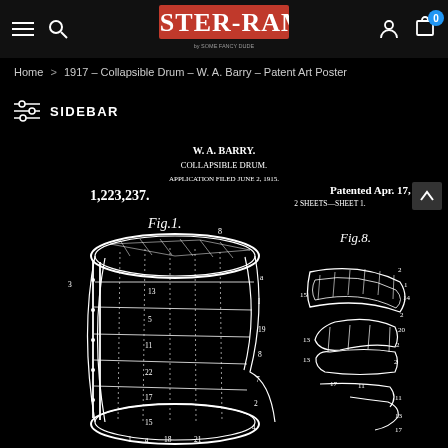Poster-Rama navigation bar with hamburger menu, search, logo, account, and cart icons
Home > 1917 – Collapsible Drum – W. A. Barry – Patent Art Poster
SIDEBAR
[Figure (engineering-diagram): Patent drawing for W. A. Barry Collapsible Drum, patent number 1,223,237, patented Apr. 17, 1917, application filed June 2, 1915. Sheet 1 showing Fig.1 (detailed labeled diagram of collapsible drum) and Fig.8 (component detail). White line art on black background.]